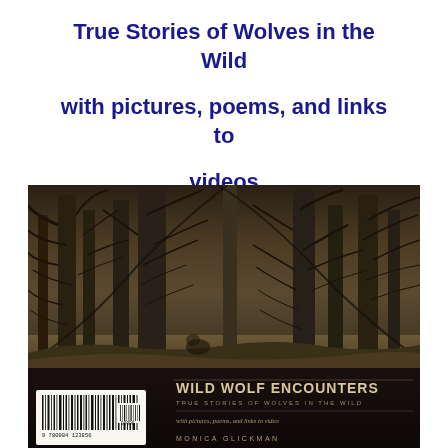True Stories of Wolves in the Wild with pictures, poems, and links to videos
[Figure (photo): Book cover of 'Wild Wolf Encounters: True Stories of Wolves in the Wild' by Monica Glickman. Top portion shows a dark forest scene with gnarled trees and branches. Bottom portion is a dark panel with the book title in large serif text, subtitle, additional text 'with pictures, poems, and links to video', author name 'MONICA GLICKMAN', and a barcode on the lower left.]